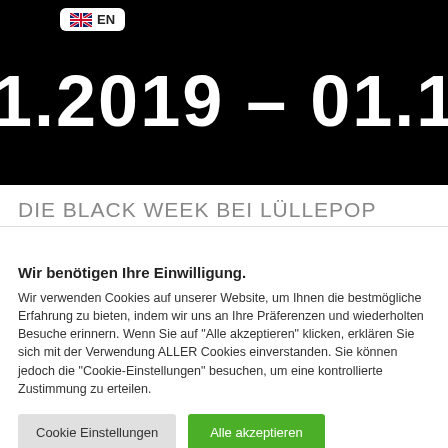[Figure (screenshot): Dark banner image showing dates '1.2019 - 01.12.2' in large white bold text on black background, with a language selector badge showing a UK flag and 'EN' in the top-left area]
DIE BLACK WEEK BEI LÜLLEPOP
Wir benötigen Ihre Einwilligung.
Wir verwenden Cookies auf unserer Website, um Ihnen die bestmögliche Erfahrung zu bieten, indem wir uns an Ihre Präferenzen und wiederholten Besuche erinnern. Wenn Sie auf "Alle akzeptieren" klicken, erklären Sie sich mit der Verwendung ALLER Cookies einverstanden. Sie können jedoch die "Cookie-Einstellungen" besuchen, um eine kontrollierte Zustimmung zu erteilen.
Cookie Einstellungen
Alle akzeptieren